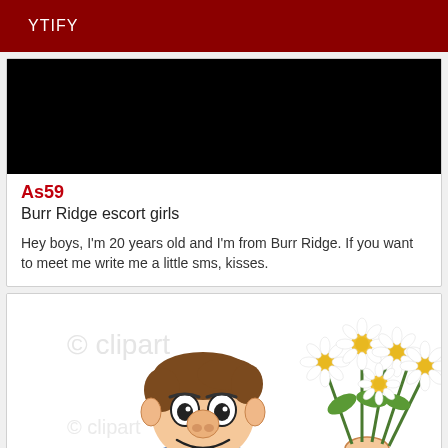YTIFY
[Figure (other): Black thumbnail image placeholder for a video]
As59
Burr Ridge escort girls
Hey boys, I'm 20 years old and I'm from Burr Ridge. If you want to meet me write me a little sms, kisses.
[Figure (illustration): Cartoon illustration of a smiling man holding a bouquet of daisies]